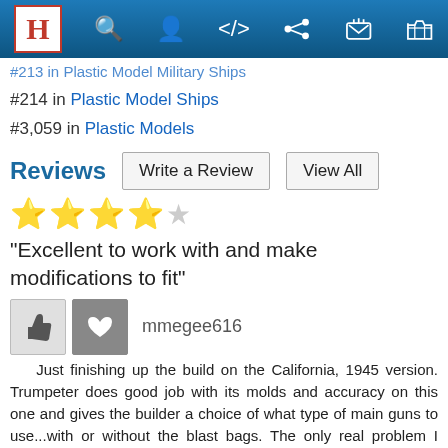H [logo] [search] [user] [share] [cart] navigation bar
#213 in Plastic Model Military Ships (partially visible/cut off)
#214 in Plastic Model Ships
#3,059 in Plastic Models
Reviews
[Figure (other): 4 out of 5 stars rating (4 gold stars, 1 empty star)]
"Excellent to work with and make modifications to fit"
[Figure (other): Thumbs up button and heart/favorite button]
mmegee616
Just finishing up the build on the California, 1945 version. Trumpeter does good job with its molds and accuracy on this one and gives the builder a choice of what type of main guns to use...with or without the blast bags. The only real problem I have had with this that there is a spot on both sides of the forward upper hull where you have to remove (cut out) a section of the hull to get the forward deck to sit properly with